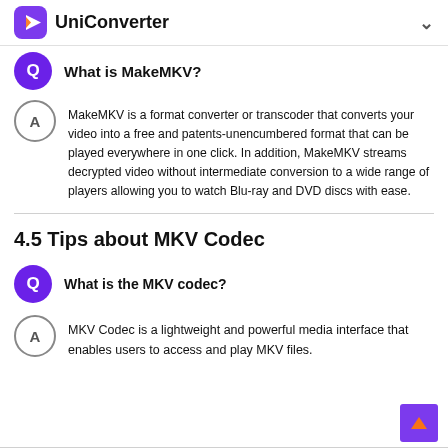UniConverter
What is MakeMKV?
MakeMKV is a format converter or transcoder that converts your video into a free and patents-unencumbered format that can be played everywhere in one click. In addition, MakeMKV streams decrypted video without intermediate conversion to a wide range of players allowing you to watch Blu-ray and DVD discs with ease.
4.5 Tips about MKV Codec
What is the MKV codec?
MKV Codec is a lightweight and powerful media interface that enables users to access and play MKV files.